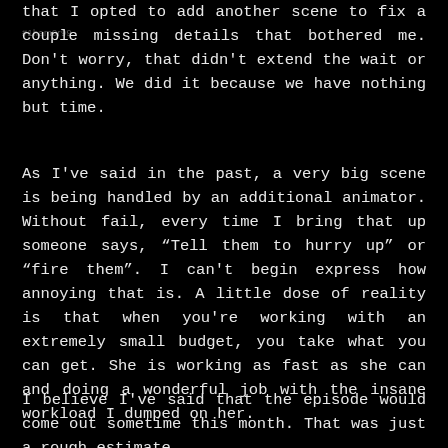that I opted to add another scene to fix a couple missing details that bothered me. Don't worry, that didn't extend the wait or anything. We did it because we have nothing but time.
As I've said in the past, a very big scene is being handled by an additional animator. Without fail, every time I bring that up someone says, “Tell them to hurry up” or “fire them”. I can't begin express how annoying that is. A little dose of reality is that when you're working with an extremely small budget, you take what you can get. She is working as fast as she can and doing a wonderful job with the insane workload I dumped on her.
I believe I've said that the episode would come out sometime this month. That was just a rough estimate